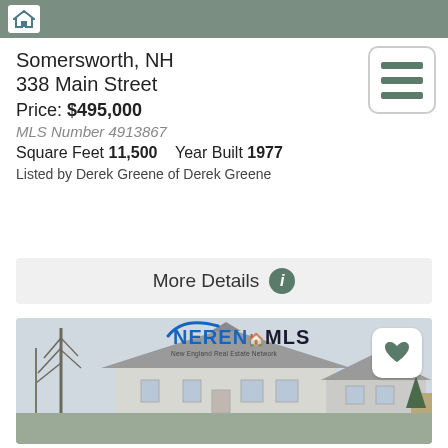[Figure (screenshot): Top navigation bar with green/teal background and house icon]
Somersworth, NH
338 Main Street
Price: $495,000
MLS Number 4913867
Square Feet 11,500    Year Built 1977
Listed by Derek Greene of Derek Greene
More Details
[Figure (photo): Exterior photo of a white Cape Cod style house with grey roof, bare trees on the left, NEREN MLS logo overlay at top center, and a heart/favorite button at top right.]